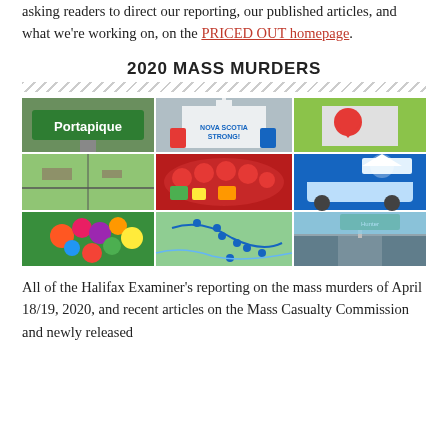asking readers to direct our reporting, our published articles, and what we're working on, on the PRICED OUT homepage.
2020 MASS MURDERS
[Figure (photo): 3x3 grid of nine photos related to the 2020 Nova Scotia mass murders, including Portapique sign, memorial with flowers, heart signs, aerial view, candles and flowers, RCMP police car, flower memorial, map with location pins, and rural road with highway sign.]
All of the Halifax Examiner's reporting on the mass murders of April 18/19, 2020, and recent articles on the Mass Casualty Commission and newly released